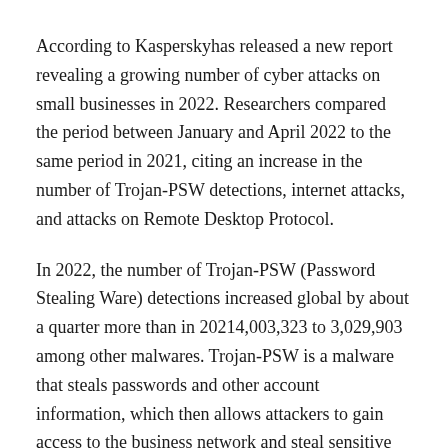According to Kasperskyhas released a new report revealing a growing number of cyber attacks on small businesses in 2022. Researchers compared the period between January and April 2022 to the same period in 2021, citing an increase in the number of Trojan-PSW detections, internet attacks, and attacks on Remote Desktop Protocol.
In 2022, the number of Trojan-PSW (Password Stealing Ware) detections increased global by about a quarter more than in 20214,003,323 to 3,029,903 among other malwares. Trojan-PSW is a malware that steals passwords and other account information, which then allows attackers to gain access to the business network and steal sensitive information.
In the analyzed period of 2021, Internet attacks increased from 32,500,000 worldwide to nearly 35,400,000 in 2022. These